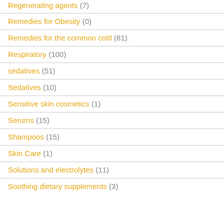Regenerating agents (7)
Remedies for Obesity (0)
Remedies for the common cold (81)
Respiratory (100)
sedatives (51)
Sedatives (10)
Sensitive skin cosmetics (1)
Serums (15)
Shampoos (15)
Skin Care (1)
Solutions and electrolytes (11)
Soothing dietary supplements (3)